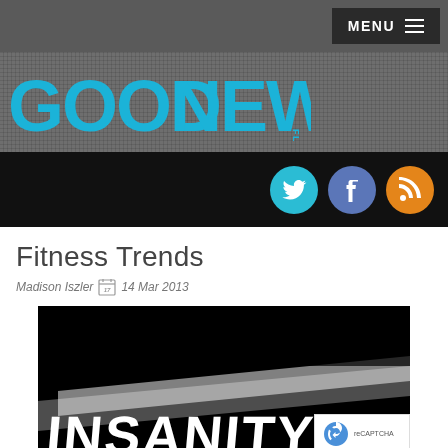MENU
[Figure (logo): Good News Florida logo in cyan/blue text on dark gray textured background]
[Figure (infographic): Social media icon buttons: Twitter (cyan), Facebook (blue-gray), RSS (orange) on black bar]
Fitness Trends
Madison Iszler  [calendar icon]  14 Mar 2013
[Figure (photo): Black and white photo showing the word INSANITY in large white text on black background]